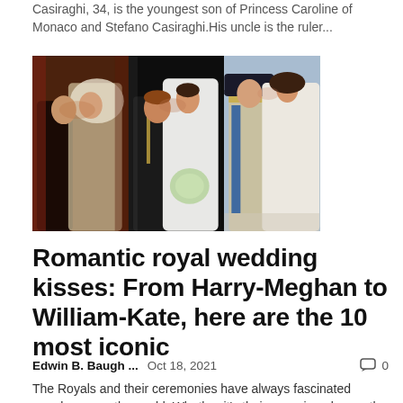Casiraghi, 34, is the youngest son of Princess Caroline of Monaco and Stefano Casiraghi.His uncle is the ruler...
[Figure (photo): Three-panel photo strip showing iconic royal wedding kisses: left panel shows Charles and Diana kissing on balcony, center panel shows Harry and Meghan kissing at their wedding, right panel shows William and Kate kissing on balcony.]
Romantic royal wedding kisses: From Harry-Meghan to William-Kate, here are the 10 most iconic
Edwin B. Baugh ...   Oct 18, 2021   0
The Royals and their ceremonies have always fascinated people across the world. Whether it's their crowning glory or the birth of